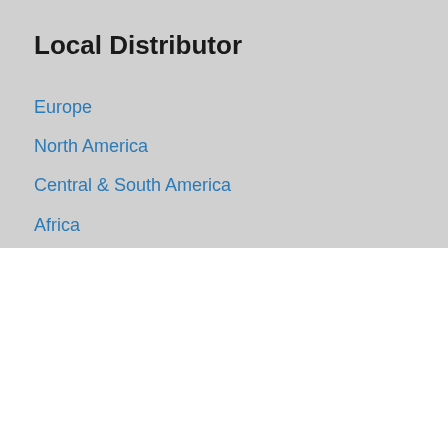Local Distributor
Europe
North America
Central & South America
Africa
Asia & Australasia
We use cookies on our website to give you the most relevant experience by remembering your preferences and repeat visits. To find out more please visit our Cookie Policy. By clicking “Accept All”, you consent to the use of ALL the cookies. However, you may visit "Cookie Settings" to provide a controlled consent.